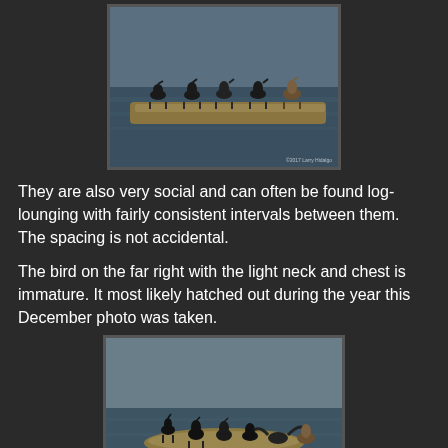[Figure (photo): Cormorants perched on a log in water, evenly spaced, with a watermark reading '©2017 Larry Hidalgo' in bottom right corner.]
They are also very social and can often be found log-lounging with fairly consistent intervals between them. The spacing is not accidental.
The bird on the far right with the light neck and chest is immature. It most likely hatched out during the year this December photo was taken.
[Figure (photo): A group of cormorants on a log partially submerged in water, some with wings spread.]